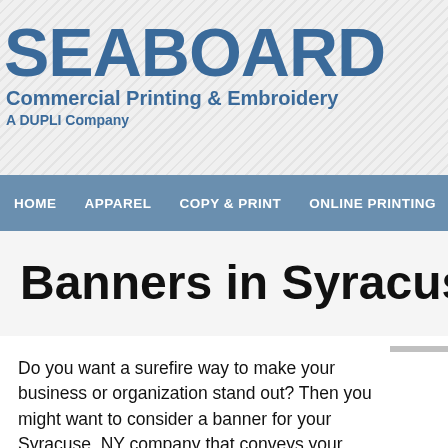SEABOARD
Commercial Printing & Embroidery
A DUPLI Company
HOME   APPAREL   COPY & PRINT   ONLINE PRINTING   SIGNAGE
Banners in Syracuse, NY
Do you want a surefire way to make your business or organization stand out? Then you might want to consider a banner for your Syracuse, NY company that conveys your message and advertises